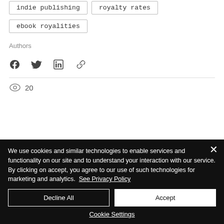indie publishing
royalty rates
ebook royalities
Authors
[Figure (infographic): Social share icons: Facebook, Twitter, LinkedIn, and link/copy icon]
20 views
We use cookies and similar technologies to enable services and functionality on our site and to understand your interaction with our service. By clicking on accept, you agree to our use of such technologies for marketing and analytics. See Privacy Policy
Decline All
Accept
Cookie Settings